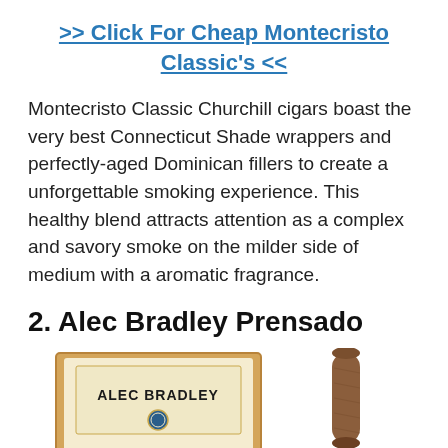>> Click For Cheap Montecristo Classic's <<
Montecristo Classic Churchill cigars boast the very best Connecticut Shade wrappers and perfectly-aged Dominican fillers to create a unforgettable smoking experience. This healthy blend attracts attention as a complex and savory smoke on the milder side of medium with a aromatic fragrance.
2. Alec Bradley Prensado
[Figure (photo): Two images side by side: left shows an Alec Bradley cigar box opened, right shows a single cigar stick.]